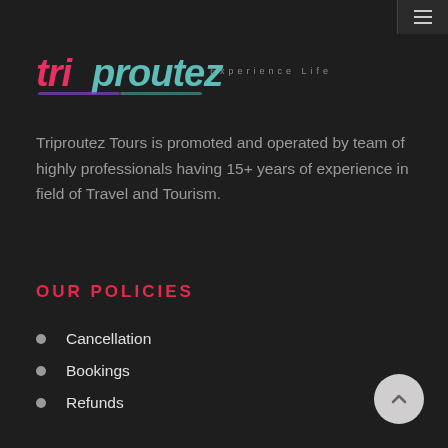[Figure (logo): Triproutez logo with colorful text and tagline 'Experience Life']
Triproutez Tours is promoted and operated by team of highly professionals having 15+ years of experience in field of Travel and Tourism.
OUR POLICIES
Cancellation
Bookings
Refunds